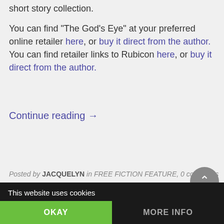short story collection. You can find “The God’s Eye” at your preferred online retailer here, or buy it direct from the author. You can find retailer links to Rubicon here, or buy it direct from the author.
Continue reading →
Posted by JACQUELYN in FREE FICTION FEATURE, 0 comments
This website uses cookies
OKAY
MORE INFO